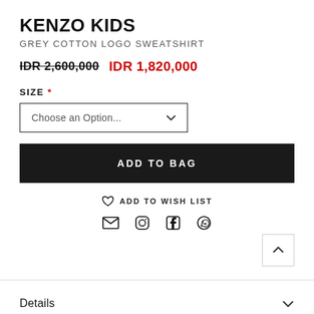KENZO KIDS
GREY COTTON LOGO SWEATSHIRT
IDR 2,600,000  IDR 1,820,000
SIZE *
Choose an Option...
ADD TO BAG
ADD TO WISH LIST
Details